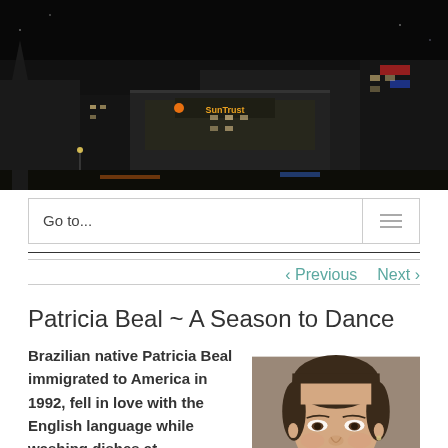[Figure (photo): Aerial night photograph of a city block with a SunTrust building lit up, showing streets and surrounding buildings from above.]
Go to...
‹ Previous   Next ›
Patricia Beal ~ A Season to Dance
Brazilian native Patricia Beal immigrated to America in 1992, fell in love with the English language while washing dishes at McDonald's,
[Figure (photo): Portrait photo of a woman with dark hair pulled back, looking at the camera with a neutral expression against a neutral background.]